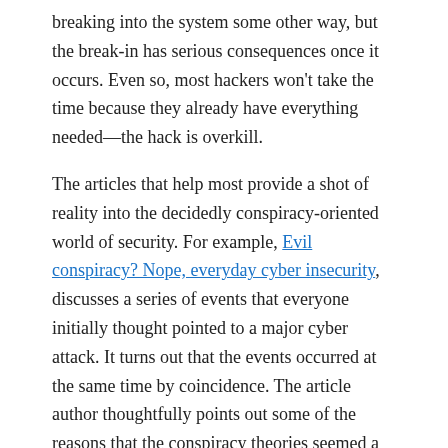breaking into the system some other way, but the break-in has serious consequences once it occurs. Even so, most hackers won't take the time because they already have everything needed—the hack is overkill.
The articles that help most provide a shot of reality into the decidedly conspiracy-oriented world of security. For example, Evil conspiracy? Nope, everyday cyber insecurity, discusses a series of events that everyone initially thought pointed to a major cyber attack. It turns out that the events occurred at the same time by coincidence. The article author thoughtfully points out some of the reasons that the conspiracy theories seemed a bit out of place at the outset anyway.
It also helps to know the true sources of potential security issues. For example, the articles, In the security world, the